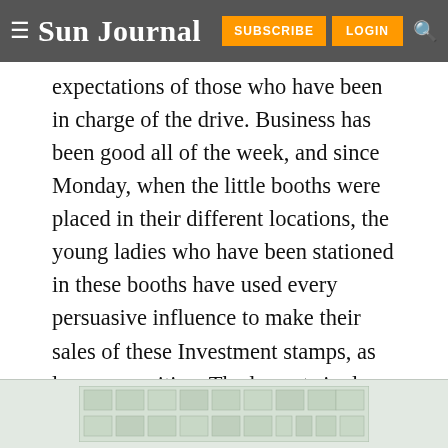≡ Sun Journal | SUBSCRIBE | LOGIN | 🔍
expectations of those who have been in charge of the drive. Business has been good all of the week, and since Monday, when the little booths were placed in their different locations, the young ladies who have been stationed in these booths have used every persuasive influence to make their sales of these Investment stamps, as large as positive. The largest single sale reported, is that of a visitor in Auburn, a woman who purchased $300 worth of Savings Stamps, but the patriotic spirit shown through the week, in which the
[Figure (other): Advertisement banner at the bottom of the page, showing a grid-like layout with faint green-gray boxes]